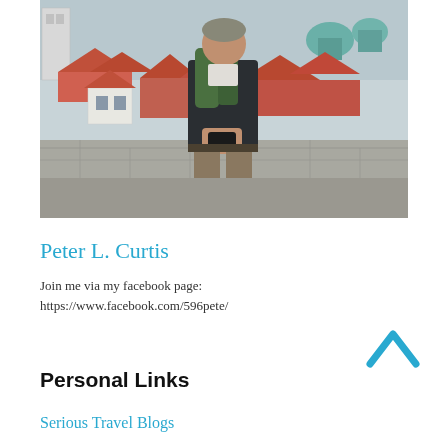[Figure (photo): Man standing outdoors on a stone wall overlook, wearing a dark jacket and carrying a backpack and camera, with red-roofed buildings and a town in the background.]
Peter L. Curtis
Join me via my facebook page:
https://www.facebook.com/596pete/
Personal Links
Serious Travel Blogs